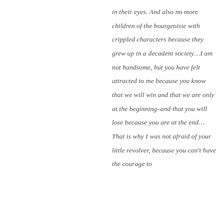in their eyes. And also no more children of the bourgeoisie with crippled characters because they grew up in a decadent society…I am not handsome, but you have felt attracted to me because you know that we will win and that we are only at the beginning–and that you will lose because you are at the end…That is why I was not afraid of your little revolver, because you can't have the courage to